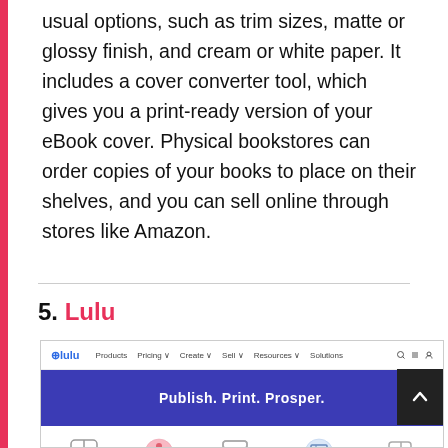usual options, such as trim sizes, matte or glossy finish, and cream or white paper. It includes a cover converter tool, which gives you a print-ready version of your eBook cover. Physical bookstores can order copies of your books to place on their shelves, and you can sell online through stores like Amazon.
5. Lulu
[Figure (screenshot): Screenshot of the Lulu website showing the navigation bar with the Lulu logo and menu links, a blue/purple hero banner with the text 'Publish. Print. Prosper.' in white bold text, and below that a row of icons with labels: Tools, Agencies, Platforms, Benchmarks, Login.]